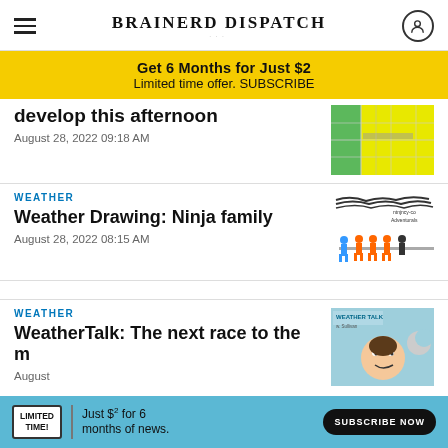BRAINERD DISPATCH
Get 6 Months for Just $2
Limited time offer. SUBSCRIBE
develop this afternoon
August 28, 2022 09:18 AM
WEATHER
Weather Drawing: Ninja family
August 28, 2022 08:15 AM
WEATHER
WeatherTalk: The next race to the m
August
LIMITED TIME! Just $2 for 6 months of news. SUBSCRIBE NOW